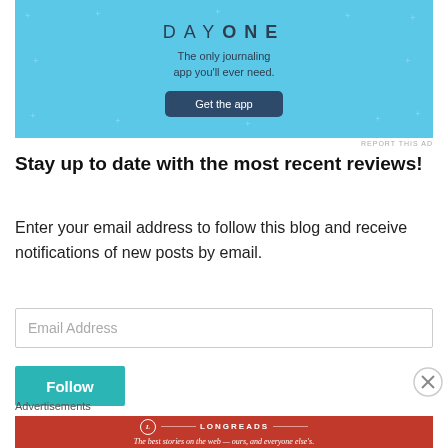[Figure (screenshot): Day One journaling app advertisement banner with light blue background showing app name 'DAY ONE', tagline 'The only journaling app you'll ever need.' and a 'Get the app' button]
REPORT THIS AD
Stay up to date with the most recent reviews!
Enter your email address to follow this blog and receive notifications of new posts by email.
Email Address
Follow
Advertisements
[Figure (screenshot): Longreads advertisement banner with red background showing Longreads logo and tagline 'The best stories on the web — ours, and everyone else's.']